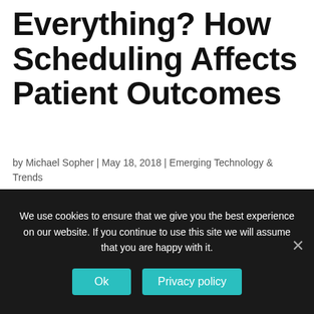Everything? How Scheduling Affects Patient Outcomes
by Michael Sopher | May 18, 2018 | Emerging Technology & Trends
How scheduling affects doctors' performance, patient outcomes, and more Medical errors are the third leading cause of death in the U.S. That adds up to 700 people a day dying from preventable causes. A new book suggests that scheduling could reduce this
We use cookies to ensure that we give you the best experience on our website. If you continue to use this site we will assume that you are happy with it.